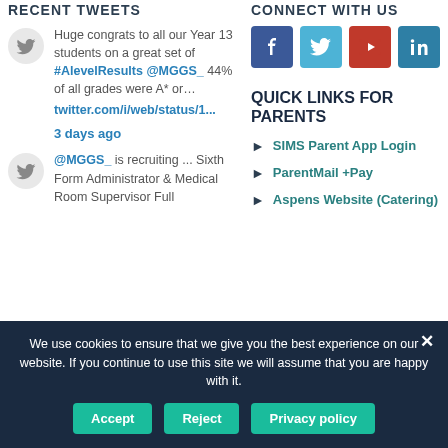RECENT TWEETS
CONNECT WITH US
Huge congrats to all our Year 13 students on a great set of #AlevelResults @MGGS_ 44% of all grades were A* or… twitter.com/i/web/status/1... 3 days ago
[Figure (logo): Social media icons: Facebook, Twitter, YouTube, LinkedIn]
QUICK LINKS FOR PARENTS
SIMS Parent App Login
ParentMail +Pay
Aspens Website (Catering)
@MGGS_ is recruiting ... Sixth Form Administrator & Medical Room Supervisor Full
We use cookies to ensure that we give you the best experience on our website. If you continue to use this site we will assume that you are happy with it.